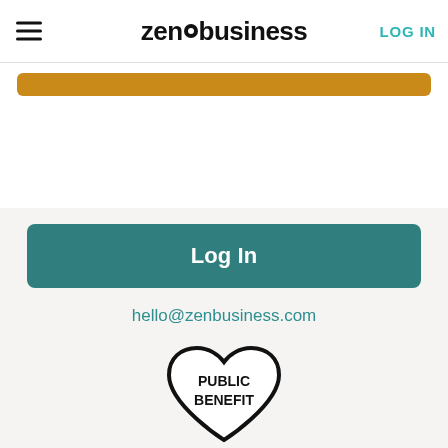zenbusiness LOG IN
[Figure (other): Orange/gold horizontal bar used as a UI element or banner]
[Figure (other): Teal Log In button]
hello@zenbusiness.com
[Figure (logo): Heart-shaped logo with text PUBLIC BENEFIT inside]